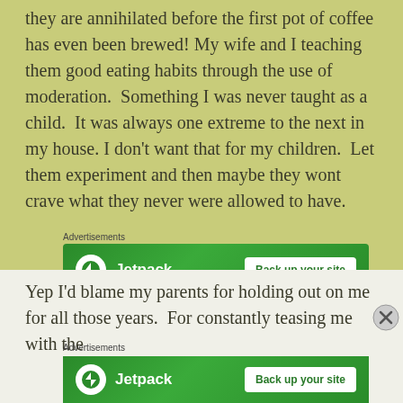they are annihilated before the first pot of coffee has even been brewed! My wife and I teaching them good eating habits through the use of moderation. Something I was never taught as a child. It was always one extreme to the next in my house. I don't want that for my children. Let them experiment and then maybe they wont crave what they never were allowed to have.
[Figure (other): Jetpack advertisement banner with logo and 'Back up your site' button on green background]
Yep I'd blame my parents for holding out on me for all those years. For constantly teasing me with the
[Figure (other): Second Jetpack advertisement banner with logo and 'Back up your site' button on green background]